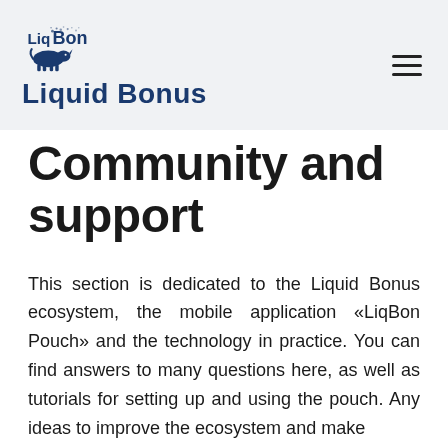Liquid Bonus
Community and support
This section is dedicated to the Liquid Bonus ecosystem, the mobile application «LiqBon Pouch» and the technology in practice. You can find answers to many questions here, as well as tutorials for setting up and using the pouch. Any ideas to improve the ecosystem and make